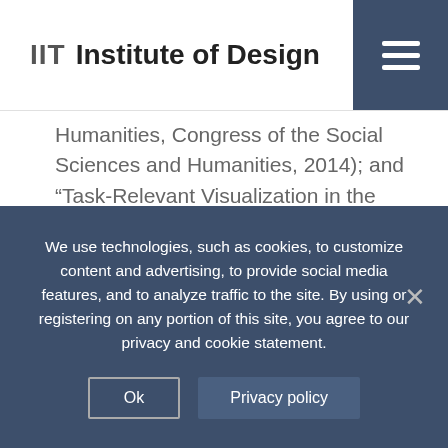IIT Institute of Design
Humanities, Congress of the Social Sciences and Humanities, 2014); and “Task-Relevant Visualization in the Humanities” (Canadian Society for Digital Humanities, Congress of the Social Sciences and Humanities, 2014). Research projects include “Driver Assistance Control and Human-Automation Interface Design for Energy Efficient Semi-Automated Hybrid Electric Vehicles” (ongoing
We use technologies, such as cookies, to customize content and advertising, to provide social media features, and to analyze traffic to the site. By using or registering on any portion of this site, you agree to our privacy and cookie statement.